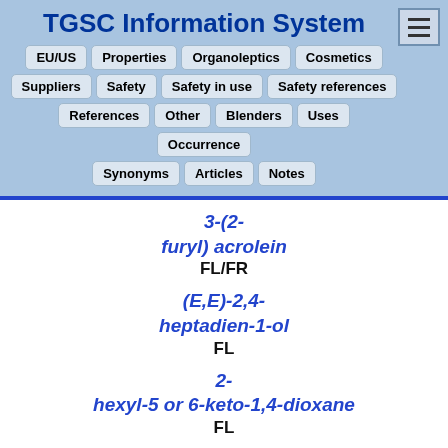TGSC Information System
EU/US | Properties | Organoleptics | Cosmetics | Suppliers | Safety | Safety in use | Safety references | References | Other | Blenders | Uses | Occurrence | Synonyms | Articles | Notes
3-(2-furyl) acrolein
FL/FR
(E,E)-2,4-heptadien-1-ol
FL
2-hexyl-5 or 6-keto-1,4-dioxane
FL
beta...